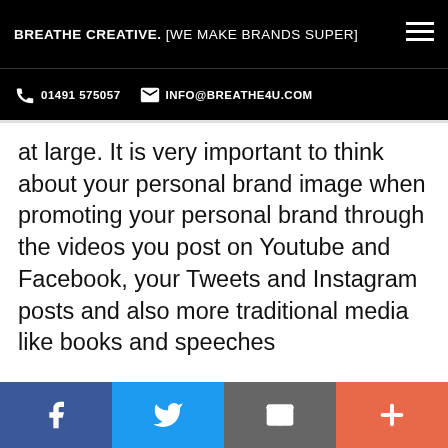BREATHE CREATIVE. [WE MAKE BRANDS SUPER]
01491 575057  INFO@BREATHE4U.COM
at large. It is very important to think about your personal brand image when promoting your personal brand through the videos you post on Youtube and Facebook, your Tweets and Instagram posts and also more traditional media like books and speeches
Personal branding can involve app[social icons]ou
Facebook | Twitter | Email | Plus